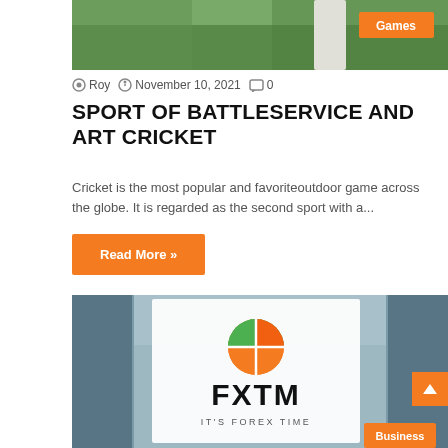[Figure (photo): Cricket match photo with player in white uniform on green field. Orange 'Games' badge in top right corner.]
Roy  November 10, 2021  0
SPORT OF BATTLESERVICE AND ART CRICKET
Cricket is the most popular and favoriteoutdoor game across the globe. It is regarded as the second sport with a...
Read More »
[Figure (photo): FXTM (ForexTime) sign mounted on a glass building. White banner with orange/green FXTM logo and text 'FXTM IT'S FOREX TIME'. Orange 'Business' badge in bottom right corner.]